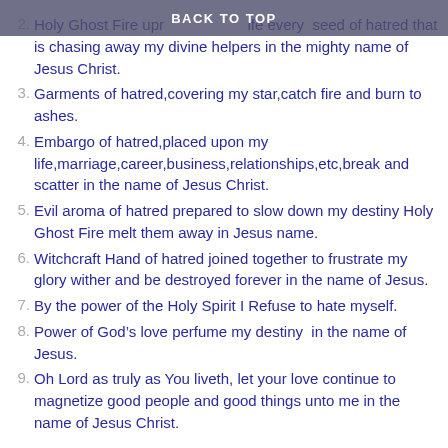BACK TO TOP
Holy Ghost Fire uproot from my life every seed of hatred that is chasing away my divine helpers in the mighty name of Jesus Christ.
Garments of hatred,covering my star,catch fire and burn to ashes.
Embargo of hatred,placed upon my life,marriage,career,business,relationships,etc,break and scatter in the name of Jesus Christ.
Evil aroma of hatred prepared to slow down my destiny Holy Ghost Fire melt them away in Jesus name.
Witchcraft Hand of hatred joined together to frustrate my glory wither and be destroyed forever in the name of Jesus.
By the power of the Holy Spirit I Refuse to hate myself.
Power of God’s love perfume my destiny  in the name of Jesus.
Oh Lord as truly as You liveth, let your love continue to magnetize good people and good things unto me in the name of Jesus Christ.